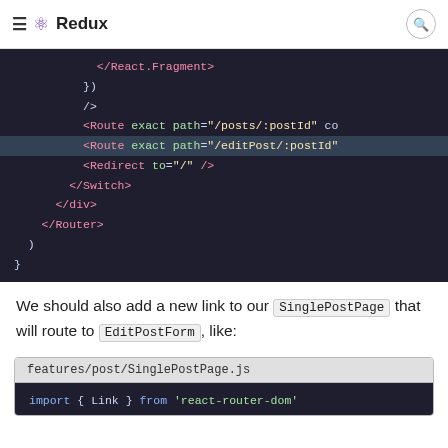Redux
[Figure (screenshot): Dark-themed code editor showing JSX routing code with React Router components: </React.Fragment>, }), />, <Route exact path="/posts/:postId" co..., <Route exact path="/editPost/:postId" (highlighted), <Redirect to="/" />, </Switch>, </div>, </Router>, ), }]
We should also add a new link to our SinglePostPage that will route to EditPostForm, like:
[Figure (screenshot): Code block header: features/post/SinglePostPage.js, with dark code area showing: import { Link } from 'react-router-dom']